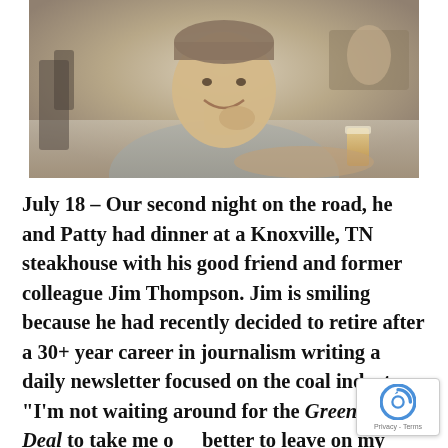[Figure (photo): A smiling man sitting at a restaurant table, resting his chin on his hand. He is wearing a gray polo shirt. There is a glass of beer on the table. Restaurant interior with chairs and tables visible in the background.]
July 18 – Our second night on the road, he and Patty had dinner at a Knoxville, TN steakhouse with his good friend and former colleague Jim Thompson. Jim is smiling because he had recently decided to retire after a 30+ year career in journalism writing a daily newsletter focused on the coal industry. “I’m not waiting around for the Green New Deal to take me out, better to leave on my own terms” he said to no one in particular.